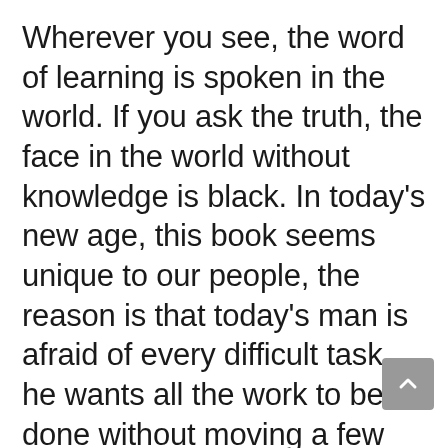Wherever you see, the word of learning is spoken in the world. If you ask the truth, the face in the world without knowledge is black. In today's new age, this book seems unique to our people, the reason is that today's man is afraid of every difficult task, he wants all the work to be done without moving a few hands and feet. There was a time when people used to do phantom austerities on the cremation ground at midnight